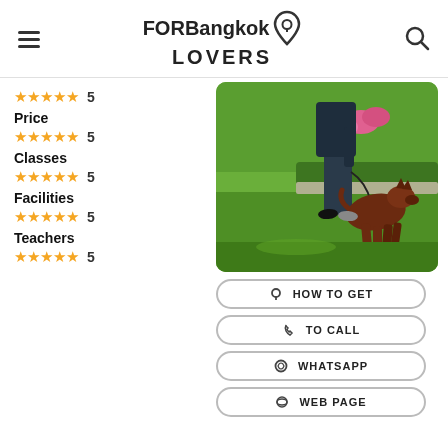FORBangkok LOVERS
5
Price
5
Classes
5
Facilities
5
Teachers
5
[Figure (photo): A person training a brown Doberman dog on a green lawn with colorful flowers in the background]
HOW TO GET
TO CALL
WHATSAPP
WEB PAGE